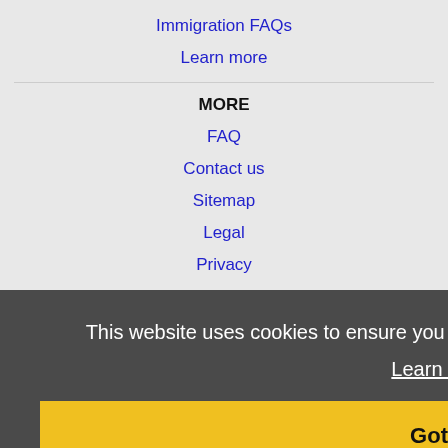Immigration FAQs
Learn more
MORE
FAQ
Contact us
Sitemap
Legal
Privacy
This website uses cookies to ensure you get the best experience on our website.
Learn more
Got it!
Primero, ID Jobs
Caldwell, ID Jobs
Nampa, ID Jobs